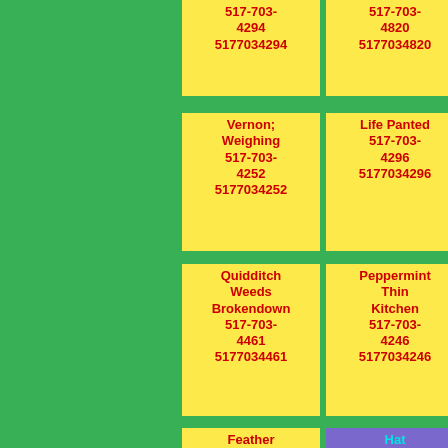| 517-703-4294 5177034294 | 517-703-4820 5177034820 | 517-703-4059 5177034059 |
| Vernon; Weighing 517-703-4252 5177034252 | Life Panted 517-703-4296 5177034296 | Trans Forward 517-703-4320 5177034320 |
| Quidditch Weeds Brokendown 517-703-4461 5177034461 | Peppermint Thin Kitchen 517-703-4246 5177034246 | Patted Nations 517-703-4300 5177034300 |
| Feather Overhead 517-703-4271 | Hat Sherbet Bossy 517-703-4045 | Itll 517-703-4903 |